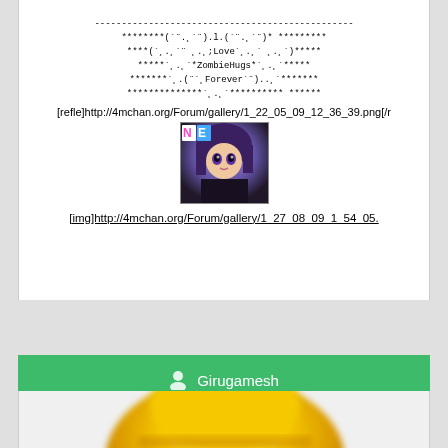------------------------------------------------
********(`¨.¸´¨).l.(`¨.¸´¨)* *********
****(`¸.¸´¨ ¸.¸;Love`¸.¸´ ¸.¸´)*****
*****`¸.¸´*ZombieHugs*`¸.¸´*****
*******`¸.(¨`¸Forever´¨)..¸´*******
**************`¸.¸´********** ******
[refle]http://4mchan.org/Forum/gallery/1_22_05_09_12_36_39.png[/r
[Figure (photo): Anime girl avatar with NE badge overlay, purple hair, dark outfit]
[img]http://4mchan.org/Forum/gallery/1_27_08_09_1_54_05.
👤 Girugamesh
[Figure (photo): Close-up of a yellow rubber duck toy, blurred/defocused]